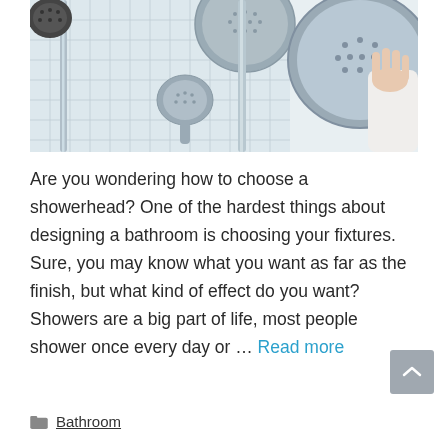[Figure (photo): Person holding a round showerhead in a bathroom showroom with multiple chrome showerheads on display]
Are you wondering how to choose a showerhead? One of the hardest things about designing a bathroom is choosing your fixtures. Sure, you may know what you want as far as the finish, but what kind of effect do you want? Showers are a big part of life, most people shower once every day or … Read more
Bathroom